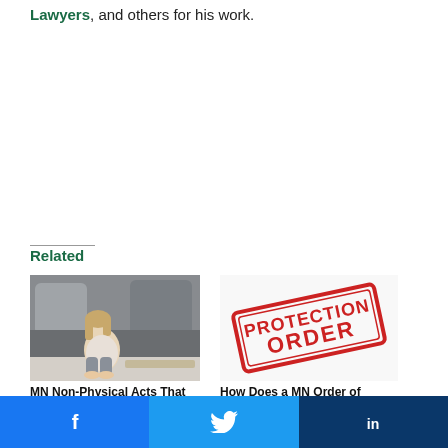Lawyers, and others for his work.
Related
[Figure (photo): Woman sitting on couch hugging her knees, looking distressed]
MN Non-Physical Acts That
[Figure (photo): Red rubber stamp image reading PROTECTION ORDER]
How Does a MN Order of Protection Provide...
[Figure (infographic): Social share bar with Facebook, Twitter, and LinkedIn buttons]